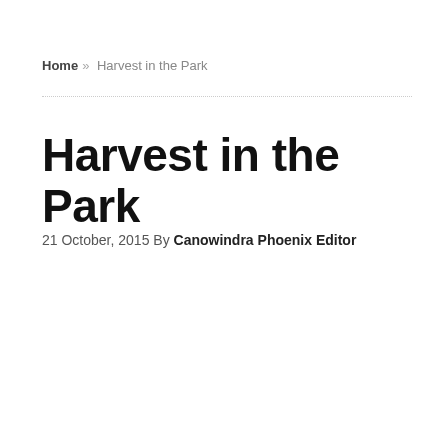Home » Harvest in the Park
Harvest in the Park
21 October, 2015 By Canowindra Phoenix Editor